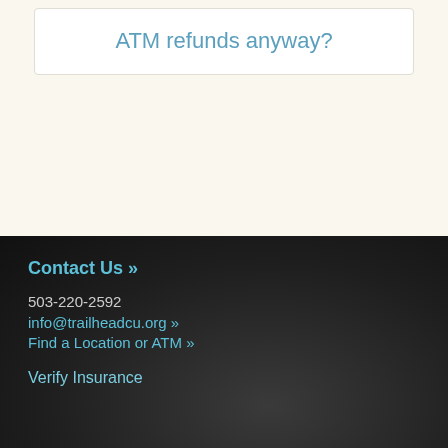ATM refunds anyway?
Contact Us »
503-220-2592
info@trailheadcu.org »
Find a Location or ATM »
Verify Insurance